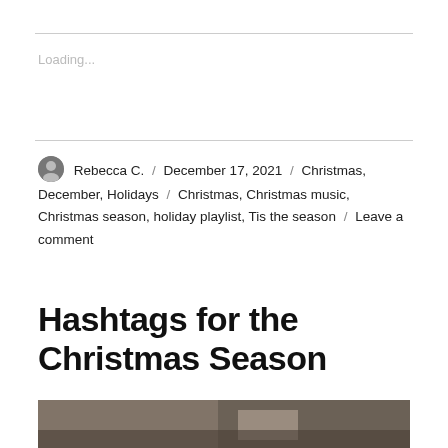Loading...
Rebecca C. / December 17, 2021 / Christmas, December, Holidays / Christmas, Christmas music, Christmas season, holiday playlist, Tis the season / Leave a comment
Hashtags for the Christmas Season
[Figure (photo): A partial photo of a person, cropped at the bottom of the page, dark and warm tones]